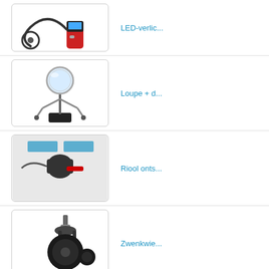[Figure (photo): LED inspection camera with flexible probe and digital display handle]
LED-verlic...
[Figure (photo): Helping hands / third hand tool with magnifying loupe on articulated clamp stand]
Loupe + d...
[Figure (photo): Riool ontstopper / drain snake tool on white surface]
Riool onts...
[Figure (photo): Black swivel caster wheel with metal stem bolt]
Zwenkwie...
[Figure (photo): Voltage tester / electrical tool, partially visible]
Spanningz...